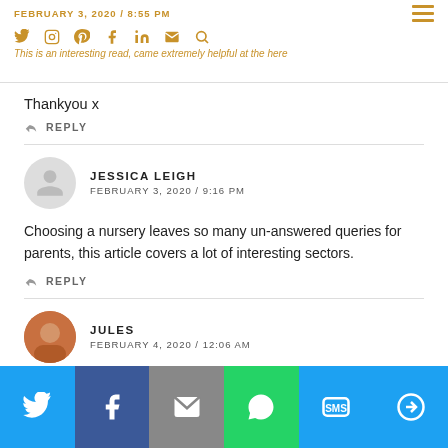FEBRUARY 3, 2020 / 8:55 PM — This is an interesting read, came extremely helpful at the here
Thankyou x
↩ REPLY
JESSICA LEIGH — FEBRUARY 3, 2020 / 9:16 PM
Choosing a nursery leaves so many un-answered queries for parents, this article covers a lot of interesting sectors.
↩ REPLY
JULES — FEBRUARY 4, 2020 / 12:06 AM
Share buttons: Twitter, Facebook, Email, WhatsApp, SMS, More